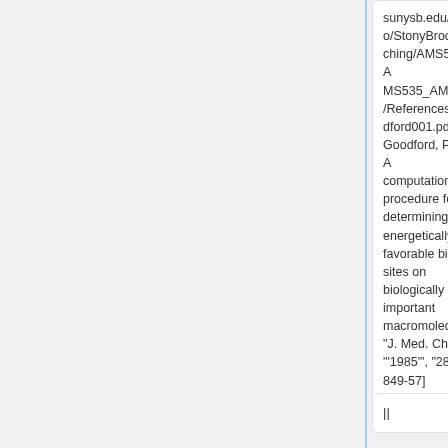sunysb.edu/~rizzo/StonyBrook/teaching/AMS532_AMS535_AMS536/References/Goodford001.pdf Goodford, P. J., A computational procedure for determining energetically favorable binding sites on biologically important macromolecules. "J. Med. Chem." "'1985'", "28", 849-57]
sunysb.edu/~rizzo/StonyBrook/teaching/AMS532_AMS535_AMS536/References/Goodford001.pdf Goodford, P. J., A computational procedure for determining energetically favorable binding sites on biologically important macromolecules. "J. Med. Chem." "'1985'", "28", 849-57]
||
||